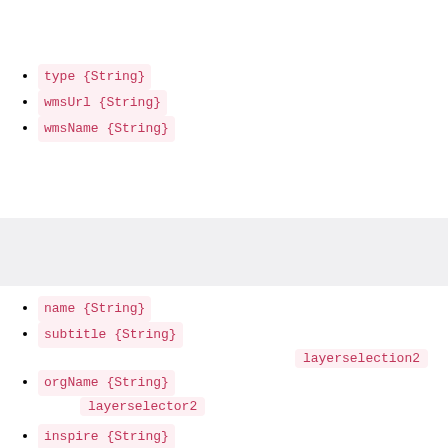type {String}
wmsUrl {String}
wmsName {String}
name {String}
subtitle {String}
layerselection2
orgName {String}
layerselector2
inspire {String}
layerselector2
legendImage {String}